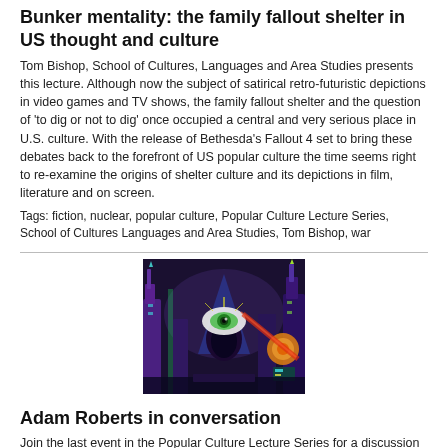Bunker mentality: the family fallout shelter in US thought and culture
Tom Bishop, School of Cultures, Languages and Area Studies presents this lecture. Although now the subject of satirical retro-futuristic depictions in video games and TV shows, the family fallout shelter and the question of 'to dig or not to dig' once occupied a central and very serious place in U.S. culture. With the release of Bethesda's Fallout 4 set to bring these debates back to the forefront of US popular culture the time seems right to re-examine the origins of shelter culture and its depictions in film, literature and on screen.
Tags: fiction, nuclear, popular culture, Popular Culture Lecture Series, School of Cultures Languages and Area Studies, Tom Bishop, war
[Figure (illustration): Colorful retro-futuristic science fiction illustration showing a futuristic cityscape with towering spires, a large pyramid-like structure with an eye in the center, orange and green neon colors, and stylized architectural elements.]
Adam Roberts in conversation
Join the last event in the Popular Culture Lecture Series for a discussion between award-winning science fiction author Adam Roberts and Dr Caroline Edwards, Birkbeck University.
Tags: Adam Roberts, author, Birkbeck University, Caroline Edwards, fiction, popular culture, Popular Culture Lecture Series, science fiction